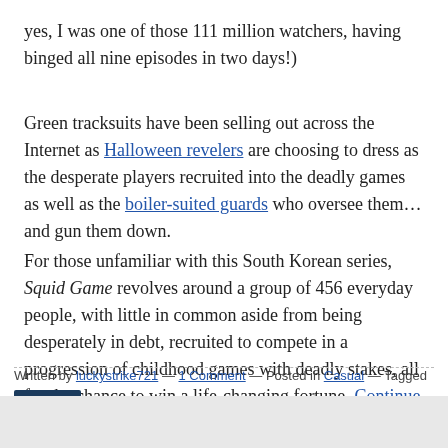yes, I was one of those 111 million watchers, having binged all nine episodes in two days!)
Green tracksuits have been selling out across the Internet as Halloween revelers are choosing to dress as the desperate players recruited into the deadly games as well as the boiler-suited guards who oversee them… and gun them down.
For those unfamiliar with this South Korean series, Squid Game revolves around a group of 456 everyday people, with little in common aside from being desperately in debt, recruited to compete in a progression of childhood games with deadly stakes, all for the chance to win a life-changing fortune. Continue reading →
Written by luckystrike721 — 1 Comment — Posted in Casual — Tagged with infolinks ...a, Lee Jung-jae, Seong Gi-hun, Slip-on Loafers, Squid Game